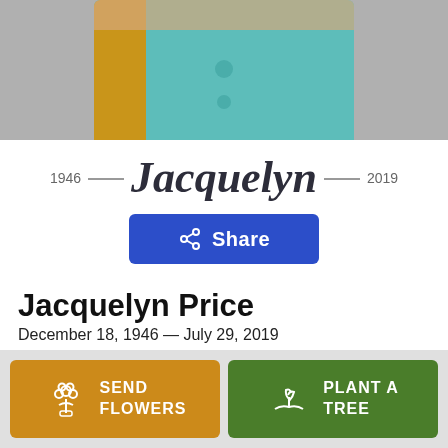[Figure (photo): Partial photo of a woman in a teal jacket with someone in a yellow shirt, cropped at the top]
1946 — Jacquelyn — 2019
[Figure (other): Blue Share button with share icon]
Jacquelyn Price
December 18, 1946 — July 29, 2019
[Figure (other): Orange Send Flowers button and green Plant A Tree button in bottom bar]